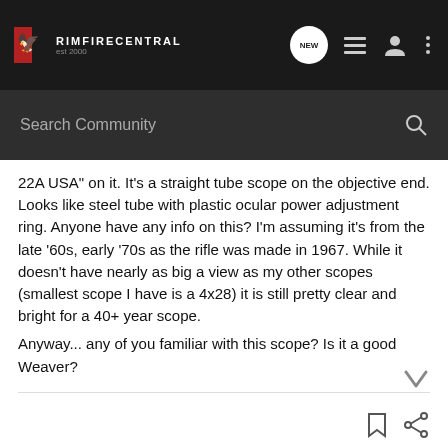RIMFIRECENTRAL
22A USA" on it. It's a straight tube scope on the objective end. Looks like steel tube with plastic ocular power adjustment ring. Anyone have any info on this? I'm assuming it's from the late '60s, early '70s as the rifle was made in 1967. While it doesn't have nearly as big a view as my other scopes (smallest scope I have is a 4x28) it is still pretty clear and bright for a 40+ year scope.
Anyway... any of you familiar with this scope? Is it a good Weaver?